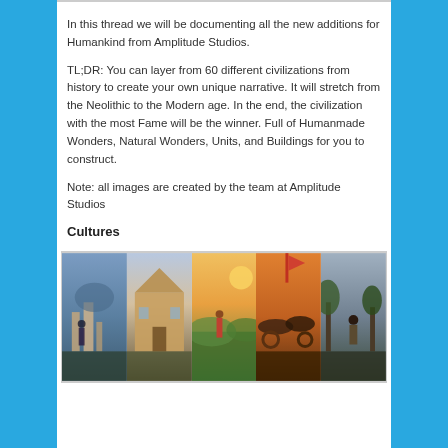In this thread we will be documenting all the new additions for Humankind from Amplitude Studios.
TL;DR: You can layer from 60 different civilizations from history to create your own unique narrative. It will stretch from the Neolithic to the Modern age. In the end, the civilization with the most Fame will be the winner. Full of Humanmade Wonders, Natural Wonders, Units, and Buildings for you to construct.
Note: all images are created by the team at Amplitude Studios
Cultures
[Figure (illustration): Five illustrated civilization culture cards arranged side by side, each depicting different historical civilizations with painted artwork scenes.]